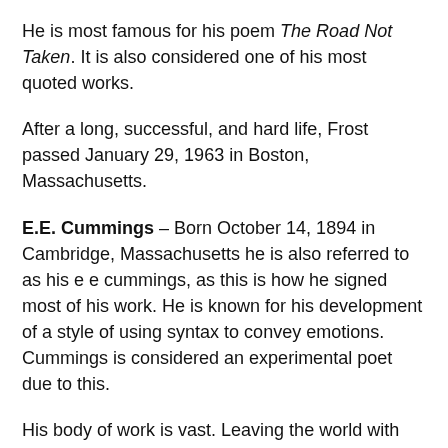He is most famous for his poem The Road Not Taken. It is also considered one of his most quoted works.
After a long, successful, and hard life, Frost passed January 29, 1963 in Boston, Massachusetts.
E.E. Cummings – Born October 14, 1894 in Cambridge, Massachusetts he is also referred to as his e e cummings, as this is how he signed most of his work. He is known for his development of a style of using syntax to convey emotions. Cummings is considered an experimental poet due to this.
His body of work is vast. Leaving the world with almost three thousand poems, several essays, and two autobiographies. It's his unique style has left his work and himself to be considered eccentric. This eccentricity transforms his writing into a truly artistic form, a visual artist, crossing the boundaries of literature. The portrayal of word and grammar to 'paint' the poem has set him apart from any other poets.